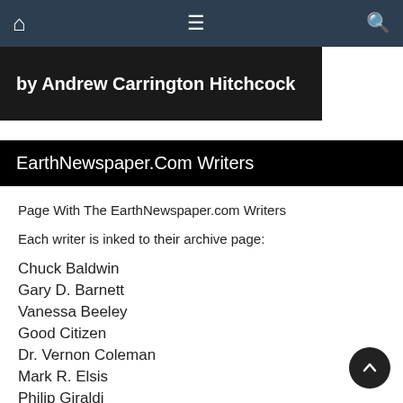Navigation bar with home, menu, and search icons
[Figure (other): Dark banner with text: by Andrew Carrington Hitchcock]
EarthNewspaper.Com Writers
Page With The EarthNewspaper.com Writers
Each writer is inked to their archive page:
Chuck Baldwin
Gary D. Barnett
Vanessa Beeley
Good Citizen
Dr. Vernon Coleman
Mark R. Elsis
Philip Giraldi